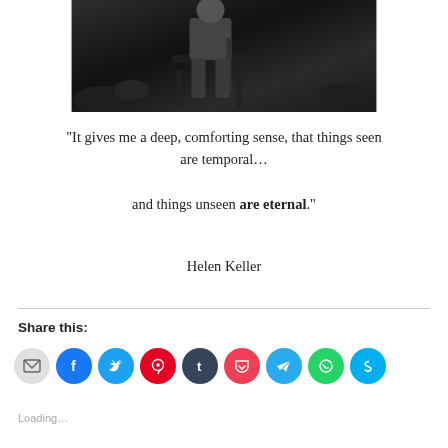[Figure (photo): Black and white photo of a person sitting on a chair outdoors, bottom portion visible, dark moody atmosphere]
“It gives me a deep, comforting sense, that things seen are temporal…

and things unseen are eternal.”
Helen Keller
Share this:
[Figure (infographic): Row of social media share icon circles: email (grey), Facebook (blue), Twitter (light blue), Pinterest (red), Tumblr (dark navy), Pocket (pink-red), Telegram (blue), WhatsApp (green), Skype (blue)]
Loading…